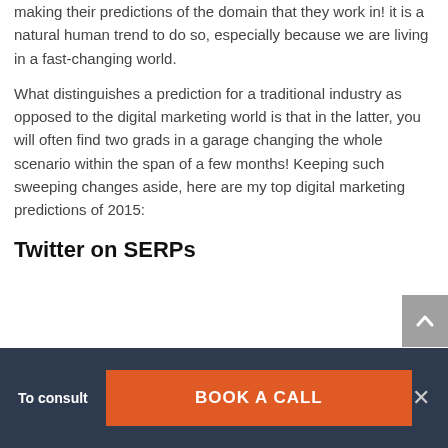making their predictions of the domain that they work in! it is a natural human trend to do so, especially because we are living in a fast-changing world.
What distinguishes a prediction for a traditional industry as opposed to the digital marketing world is that in the latter, you will often find two grads in a garage changing the whole scenario within the span of a few months! Keeping such sweeping changes aside, here are my top digital marketing predictions of 2015:
Twitter on SERPs
To consult
BOOK A CALL